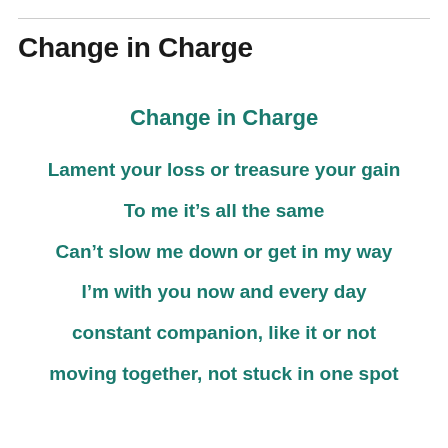Change in Charge
Change in Charge
Lament your loss or treasure your gain
To me it’s all the same
Can’t slow me down or get in my way
I’m with you now and every day
constant companion, like it or not
moving together, not stuck in one spot